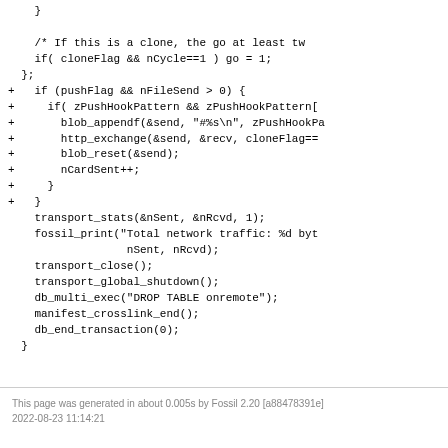}

    /* If this is a clone, the go at least tw
    if( cloneFlag && nCycle==1 ) go = 1;
  };
+   if (pushFlag && nFileSend > 0) {
+     if( zPushHookPattern && zPushHookPattern[
+       blob_appendf(&send, "#%s\n", zPushHookPa
+       http_exchange(&send, &recv, cloneFlag==
+       blob_reset(&send);
+       nCardSent++;
+     }
+   }
    transport_stats(&nSent, &nRcvd, 1);
    fossil_print("Total network traffic: %d byt
                  nSent, nRcvd);
    transport_close();
    transport_global_shutdown();
    db_multi_exec("DROP TABLE onremote");
    manifest_crosslink_end();
    db_end_transaction(0);
  }
This page was generated in about 0.005s by Fossil 2.20 [a88478391e]
2022-08-23 11:14:21